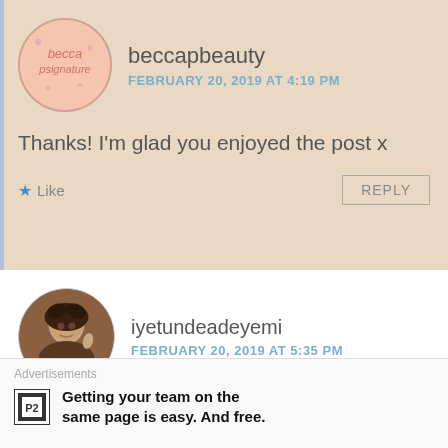[Figure (screenshot): Blog comment section screenshot showing two user comments with avatars, usernames, timestamps, comment text, like and reply buttons, and an advertisement bar at the bottom.]
beccapbeauty
FEBRUARY 20, 2019 AT 4:19 PM
Thanks! I'm glad you enjoyed the post x
Like
REPLY
iyetundeadeyemi
FEBRUARY 20, 2019 AT 5:35 PM
Great post. Learnt something 👌👍
Advertisements
P2
Getting your team on the same page is easy. And free.